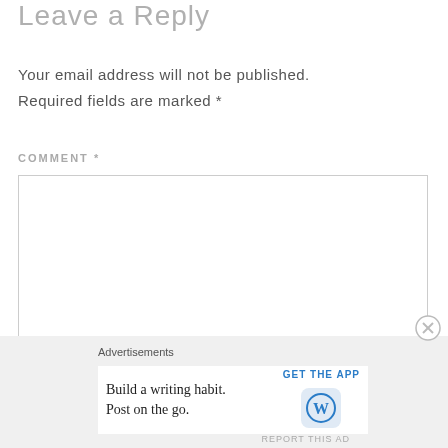Leave a Reply
Your email address will not be published. Required fields are marked *
COMMENT *
[Figure (screenshot): Empty comment textarea input box with resize handle]
[Figure (infographic): Advertisement banner: 'Build a writing habit. Post on the go.' with GET THE APP button and WordPress logo]